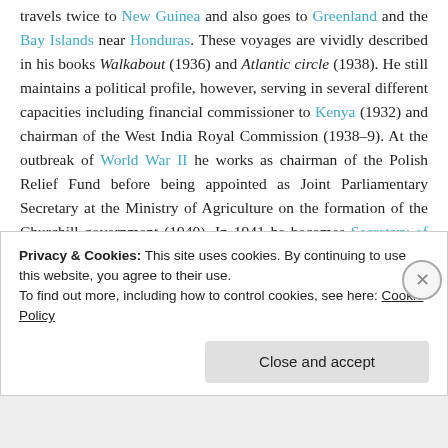travels twice to New Guinea and also goes to Greenland and the Bay Islands near Honduras. These voyages are vividly described in his books Walkabout (1936) and Atlantic circle (1938). He still maintains a political profile, however, serving in several different capacities including financial commissioner to Kenya (1932) and chairman of the West India Royal Commission (1938–9). At the outbreak of World War II he works as chairman of the Polish Relief Fund before being appointed as Joint Parliamentary Secretary at the Ministry of Agriculture on the formation of the Churchill government (1940). In 1941 he becomes Secretary of State for the Colonies and
Privacy & Cookies: This site uses cookies. By continuing to use this website, you agree to their use.
To find out more, including how to control cookies, see here: Cookie Policy